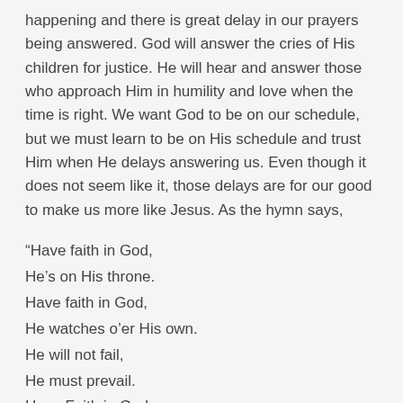happening and there is great delay in our prayers being answered. God will answer the cries of His children for justice. He will hear and answer those who approach Him in humility and love when the time is right. We want God to be on our schedule, but we must learn to be on His schedule and trust Him when He delays answering us. Even though it does not seem like it, those delays are for our good to make us more like Jesus. As the hymn says,
“Have faith in God,
He’s on His throne.
Have faith in God,
He watches o’er His own.
He will not fail,
He must prevail.
Have Faith in God,
Have faith in God!
(B.B. McKinney)